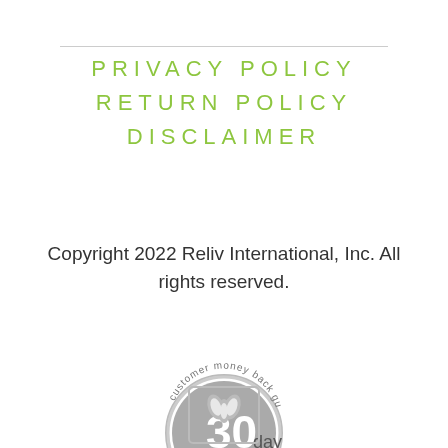PRIVACY POLICY
RETURN POLICY
DISCLAIMER
Copyright 2022 Reliv International, Inc. All rights reserved.
[Figure (logo): 30 day customer money back guarantee circular badge in gray]
[Figure (logo): Better Business Bureau (BBB) logo in gray with shield icon]